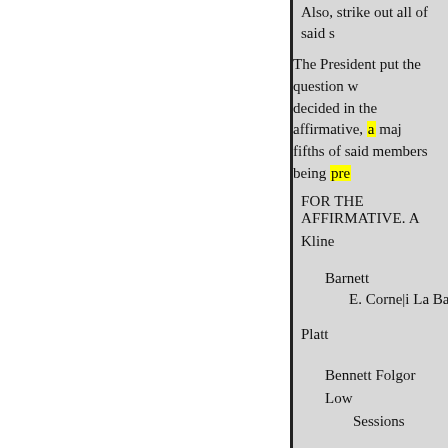Also, strike out all of said s
The President put the question w decided in the affirmative, a maj fifths of said members being pre
FOR THE AFFIRMATIVE. A
Kline
Barnett
E. Corneli La Bau
Platt
Bennett Folgor
Low
Sessions
Campbell Gibson